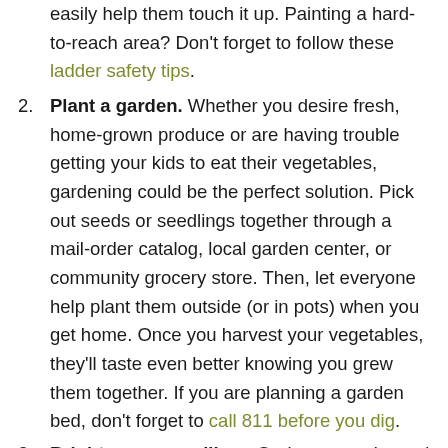easily help them touch it up. Painting a hard-to-reach area? Don't forget to follow these ladder safety tips.
2. Plant a garden. Whether you desire fresh, home-grown produce or are having trouble getting your kids to eat their vegetables, gardening could be the perfect solution. Pick out seeds or seedlings together through a mail-order catalog, local garden center, or community grocery store. Then, let everyone help plant them outside (or in pots) when you get home. Once you harvest your vegetables, they'll taste even better knowing you grew them together. If you are planning a garden bed, don't forget to call 811 before you dig.
3. Brighten your mailbox. Grab some paint and let your kids use their creativity to decorate that fading mailbox. Just be sure your house number is clearly